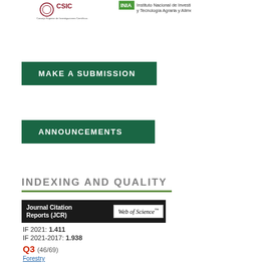[Figure (logo): CSIC and INIA institutional logos at the top of the page]
MAKE A SUBMISSION
ANNOUNCEMENTS
INDEXING AND QUALITY
[Figure (logo): Journal Citation Reports (JCR) badge with Web of Science logo]
IF 2021: 1.411
IF 2021-2017: 1.938
Q3 (46/69)
Forestry